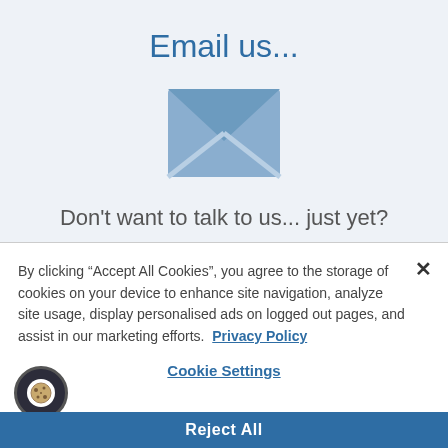Email us...
[Figure (illustration): Blue envelope icon (email symbol) — a blue rectangle with an X formed by two diagonal lines across it, representing a closed envelope.]
Don't want to talk to us... just yet?
That's okay. We want to give you the best deal for
By clicking “Accept All Cookies”, you agree to the storage of cookies on your device to enhance site navigation, analyze site usage, display personalised ads on logged out pages, and assist in our marketing efforts.  Privacy Policy
Cookie Settings
Reject All